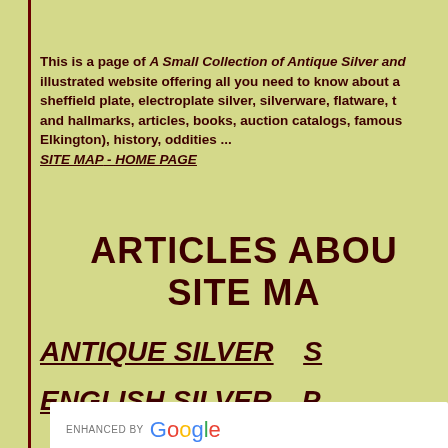This is a page of A Small Collection of Antique Silver and illustrated website offering all you need to know about a sheffield plate, electroplate silver, silverware, flatware, to and hallmarks, articles, books, auction catalogs, famous Elkington), history, oddities ... SITE MAP - HOME PAGE
ARTICLES ABOUT SITE MAP
ANTIQUE SILVER   S
ENGLISH SILVER   P
[Figure (screenshot): Google search box with 'ENHANCED BY Google' text]